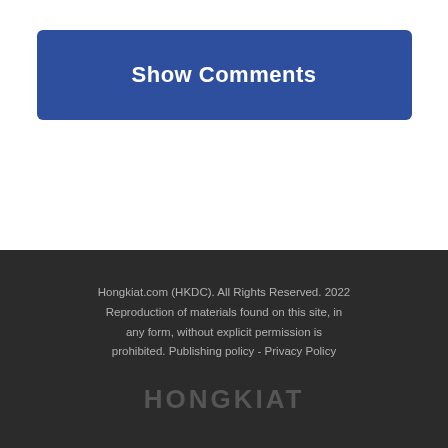Show Comments
Hongkiat.com (HKDC). All Rights Reserved. 2022 Reproduction of materials found on this site, in any form, without explicit permission is prohibited. Publishing policy - Privacy Policy
HONGKIAT